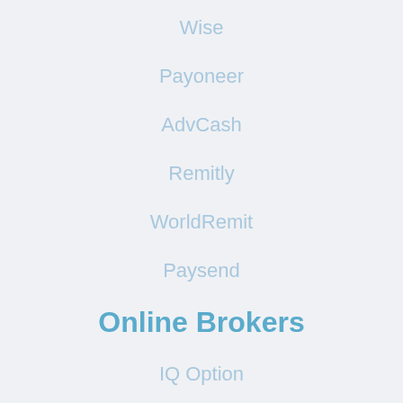Wise
Payoneer
AdvCash
Remitly
WorldRemit
Paysend
Online Brokers
IQ Option
Plus500
Avatrade